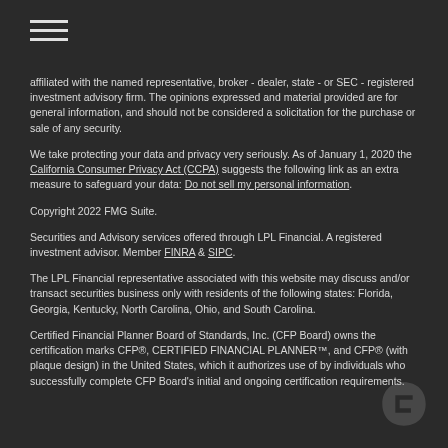[Figure (other): Hamburger menu icon (three horizontal lines)]
affiliated with the named representative, broker - dealer, state - or SEC - registered investment advisory firm. The opinions expressed and material provided are for general information, and should not be considered a solicitation for the purchase or sale of any security.
We take protecting your data and privacy very seriously. As of January 1, 2020 the California Consumer Privacy Act (CCPA) suggests the following link as an extra measure to safeguard your data: Do not sell my personal information.
Copyright 2022 FMG Suite.
Securities and Advisory services offered through LPL Financial. A registered investment advisor. Member FINRA & SIPC.
The LPL Financial representative associated with this website may discuss and/or transact securities business only with residents of the following states: Florida, Georgia, Kentucky, North Carolina, Ohio, and South Carolina.
Certified Financial Planner Board of Standards, Inc. (CFP Board) owns the certification marks CFP®, CERTIFIED FINANCIAL PLANNER™, and CFP® (with plaque design) in the United States, which it authorizes use of by individuals who successfully complete CFP Board's initial and ongoing certification requirements.